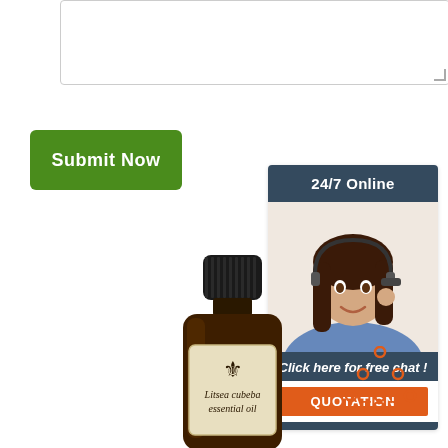[Figure (other): Text input textarea box with resize handle]
[Figure (other): Green Submit Now button]
[Figure (other): 24/7 Online chat widget with agent photo, 'Click here for free chat!' text, and QUOTATION button]
[Figure (photo): Litsea cubeba essential oil dark amber glass bottle with black cap and cream label showing fleur-de-lis logo]
[Figure (other): TOP back-to-top icon with orange dots forming triangle above orange TOP text]